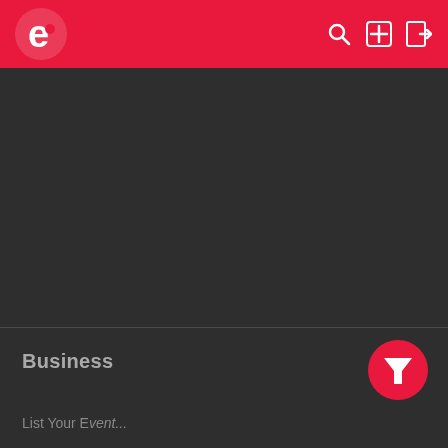[Figure (logo): Red header bar with white 'e' logo on left and search, plus, and login icons on right]
[Figure (other): Large dark gray content area, mostly empty]
Business
[Figure (other): Red circular filter button with white funnel/filter icon]
List Your Event...